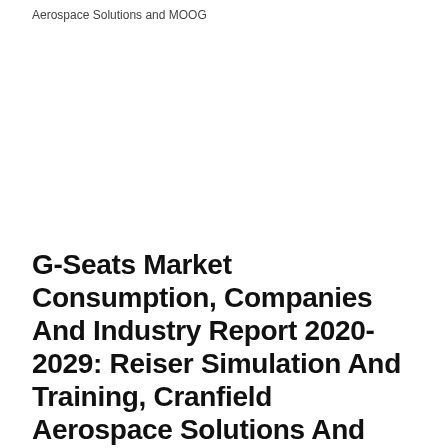Aerospace Solutions and MOOG
G-Seats Market Consumption, Companies And Industry Report 2020-2029: Reiser Simulation And Training, Cranfield Aerospace Solutions And MOOG
Market Research